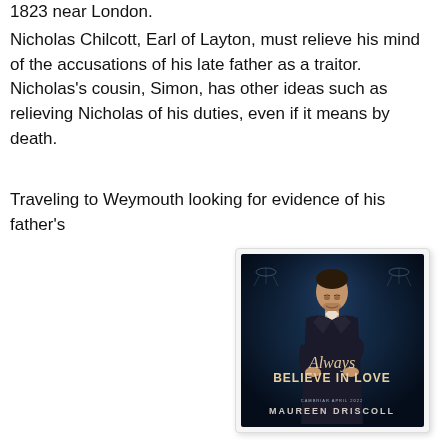1823 near London.
Nicholas Chilcott, Earl of Layton, must relieve his mind of the accusations of his late father as a traitor. Nicholas's cousin, Simon, has other ideas such as relieving Nicholas of his duties, even if it means by death.
Traveling to Weymouth looking for evidence of his father's
[Figure (photo): Book cover for 'Always Believe in Love' by Maureen Driscoll. Dark blue atmospheric background with a serious-looking man in a dark suit with arms crossed, chandeliers visible behind him. Title text in stylized script/bold font, author name at bottom.]